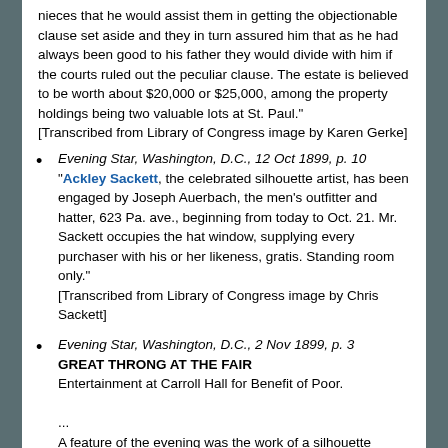nieces that he would assist them in getting the objectionable clause set aside and they in turn assured him that as he had always been good to his father they would divide with him if the courts ruled out the peculiar clause. The estate is believed to be worth about $20,000 or $25,000, among the property holdings being two valuable lots at St. Paul." [Transcribed from Library of Congress image by Karen Gerke]
Evening Star, Washington, D.C., 12 Oct 1899, p. 10 "Ackley Sackett, the celebrated silhouette artist, has been engaged by Joseph Auerbach, the men's outfitter and hatter, 623 Pa. ave., beginning from today to Oct. 21. Mr. Sackett occupies the hat window, supplying every purchaser with his or her likeness, gratis. Standing room only." [Transcribed from Library of Congress image by Chris Sackett]
Evening Star, Washington, D.C., 2 Nov 1899, p. 3 GREAT THRONG AT THE FAIR Entertainment at Carroll Hall for Benefit of Poor. ... A feature of the evening was the work of a silhouette